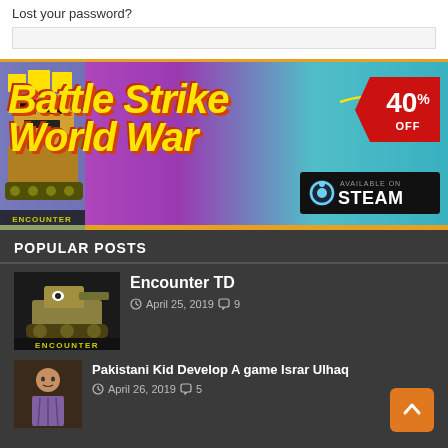Lost your password?
[Figure (illustration): Battle Strike World War game advertisement banner showing pixel robot character on the left, yellow italic bold text 'Battle Strike World War', a red 40% OFF tag, and a Steam availability badge on dark background.]
POPULAR POSTS
[Figure (photo): Thumbnail image of Encounter TD game showing a cartoon tank character with text ENCOUNTER at the bottom.]
Encounter TD
April 25, 2019  9
[Figure (photo): Thumbnail image of a young man (Israr Ulhaq) for the post about Pakistani kid developing a game.]
Pakistani Kid Develop A game Israr Ulhaq
April 26, 2019  5